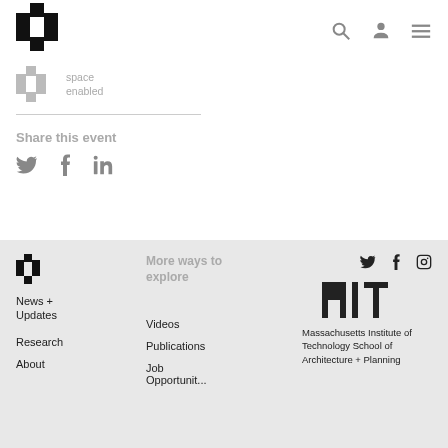[Figure (logo): MIT Media Lab stepped logo in black, top header]
[Figure (logo): Space Enabled logo with gray stepped icon and text]
space
enabled
Share this event
[Figure (infographic): Social share icons: Twitter bird, Facebook f, LinkedIn in]
[Figure (logo): MIT Media Lab small stepped logo in black, footer]
News + Updates
Research
About
More ways to explore
Videos
Publications
Job Opportunities
[Figure (infographic): Footer social icons: Twitter, Facebook, Instagram]
[Figure (logo): MIT logo - stylized MIT text]
Massachusetts Institute of Technology School of Architecture + Planning